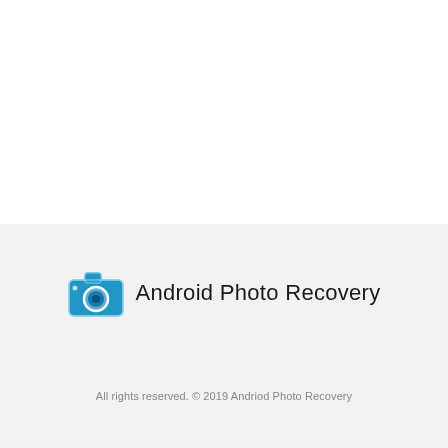[Figure (logo): Android Photo Recovery app logo: blue camera icon with white lens circle, followed by the text 'Android Photo Recovery' in black]
All rights reserved. © 2019 Andriod Photo Recovery